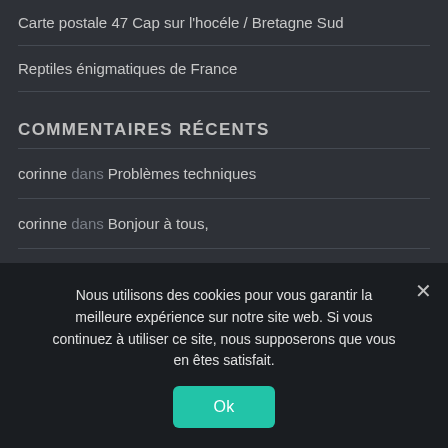Carte postale 47 Cap sur l'hocéle / Bretagne Sud
Reptiles énigmatiques de France
COMMENTAIRES RÉCENTS
corinne dans Problèmes techniques
corinne dans Bonjour à tous,
Lebogang Shazzygal Malatji dans The HU band
corinne dans The HU band
Nous utilisons des cookies pour vous garantir la meilleure expérience sur notre site web. Si vous continuez à utiliser ce site, nous supposerons que vous en êtes satisfait.